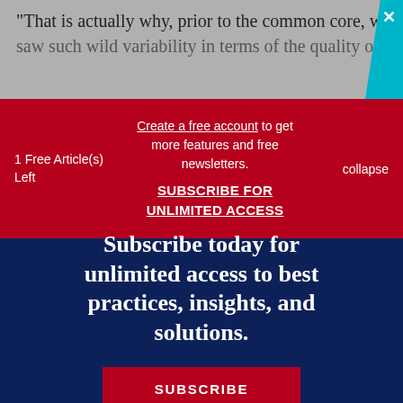“That is actually why, prior to the common core, we saw such wild variability in terms of the quality of state…
1 Free Article(s) Left
Create a free account to get more features and free newsletters.
SUBSCRIBE FOR UNLIMITED ACCESS
collapse
Subscribe today for unlimited access to best practices, insights, and solutions.
SUBSCRIBE